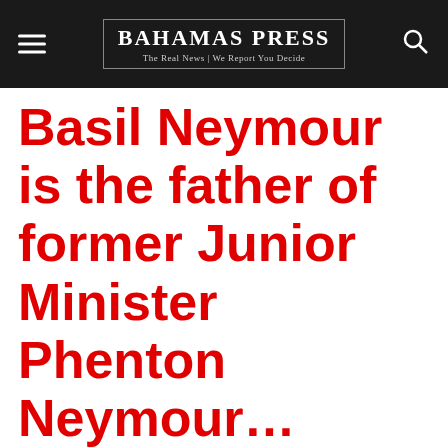Bahamas Press — The Real News | We Report You Decide
Basil Neymour is the father of former Junior Minister Phenton Neymour…